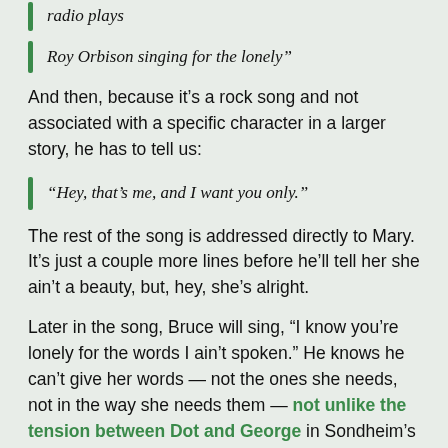radio plays
Roy Orbison singing for the lonely"
And then, because it's a rock song and not associated with a specific character in a larger story, he has to tell us:
“Hey, that’s me, and I want you only.”
The rest of the song is addressed directly to Mary. It’s just a couple more lines before he’ll tell her she ain’t a beauty, but, hey, she’s alright.
Later in the song, Bruce will sing, “I know you’re lonely for the words I ain’t spoken.” He knows he can’t give her words — not the ones she needs, not in the way she needs them — not unlike the tension between Dot and George in Sondheim’s virtuosic Sunday in the